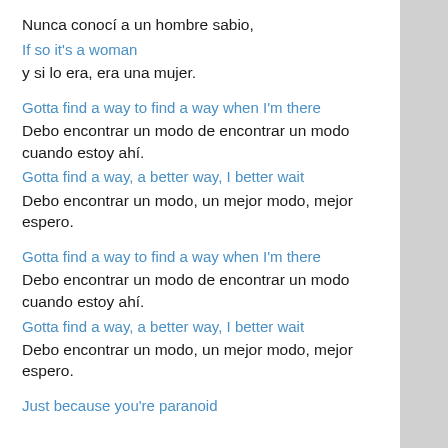Nunca conocí a un hombre sabio,
If so it's a woman
y si lo era, era una mujer.
Gotta find a way to find a way when I'm there
Debo encontrar un modo de encontrar un modo cuando estoy ahí.
Gotta find a way, a better way, I better wait
Debo encontrar un modo, un mejor modo, mejor espero.
Gotta find a way to find a way when I'm there
Debo encontrar un modo de encontrar un modo cuando estoy ahí.
Gotta find a way, a better way, I better wait
Debo encontrar un modo, un mejor modo, mejor espero.
Just because you're paranoid